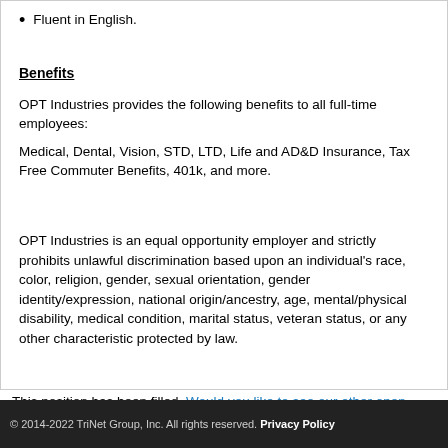Fluent in English.
Benefits
OPT Industries provides the following benefits to all full-time employees:
Medical, Dental, Vision, STD, LTD, Life and AD&D Insurance, Tax Free Commuter Benefits, 401k, and more.
OPT Industries is an equal opportunity employer and strictly prohibits unlawful discrimination based upon an individual's race, color, religion, gender, sexual orientation, gender identity/expression, national origin/ancestry, age, mental/physical disability, medical condition, marital status, veteran status, or any other characteristic protected by law.
This position has been filled. Would you like to see our other open positions?
© 2014-2022 TriNet Group, Inc. All rights reserved. Privacy Policy